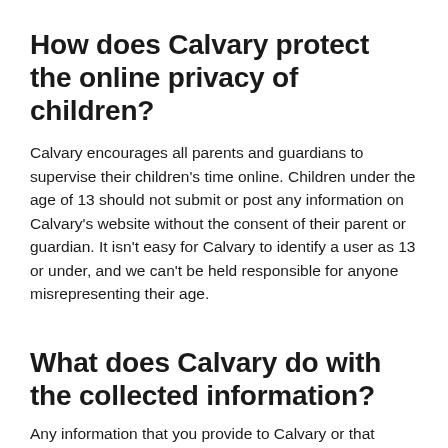How does Calvary protect the online privacy of children?
Calvary encourages all parents and guardians to supervise their children's time online. Children under the age of 13 should not submit or post any information on Calvary's website without the consent of their parent or guardian. It isn't easy for Calvary to identify a user as 13 or under, and we can't be held responsible for anyone misrepresenting their age.
What does Calvary do with the collected information?
Any information that you provide to Calvary or that